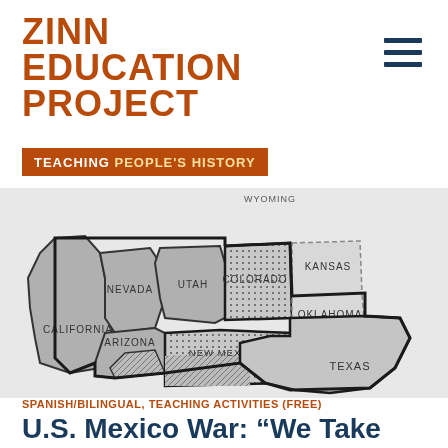ZINN EDUCATION PROJECT
TEACHING PEOPLE'S HISTORY
[Figure (map): Map of the southwestern United States and Mexican Cession territory, showing states labeled Nevada, Utah, Colorado, Kansas, California, Arizona, New Mexico, Oklahoma, Texas with different shading patterns indicating territory boundaries.]
SPANISH/BILINGUAL, TEACHING ACTIVITIES (FREE)
U.S. Mexico War: “We Take Nothing by Conquest, Thank God”
Teaching Activity. Lesson by Bill Bigelow and student reading by Howard Zinn. Rethinking Schools, 21...